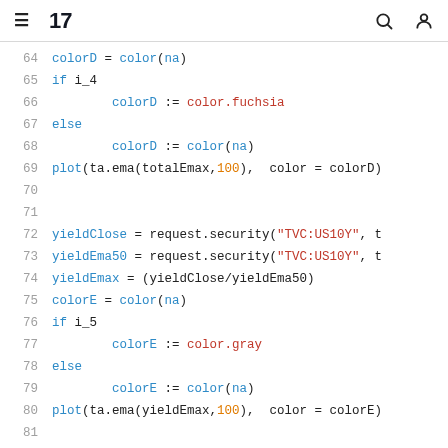TradingView logo header with hamburger menu, search and user icons
[Figure (screenshot): Code editor showing Pine Script lines 64–84 with syntax highlighting]